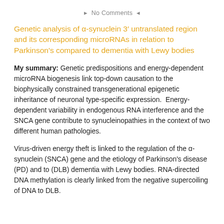No Comments
Genetic analysis of α-synuclein 3′ untranslated region and its corresponding microRNAs in relation to Parkinson's compared to dementia with Lewy bodies
My summary: Genetic predispositions and energy-dependent microRNA biogenesis link top-down causation to the biophysically constrained transgenerational epigenetic inheritance of neuronal type-specific expression.  Energy-dependent variability in endogenous RNA interference and the SNCA gene contribute to synucleinopathies in the context of two different human pathologies.
Virus-driven energy theft is linked to the regulation of the α-synuclein (SNCA) gene and the etiology of Parkinson's disease (PD) and to (DLB) dementia with Lewy bodies. RNA-directed DNA methylation is clearly linked from the negative supercoiling of DNA to DLB.